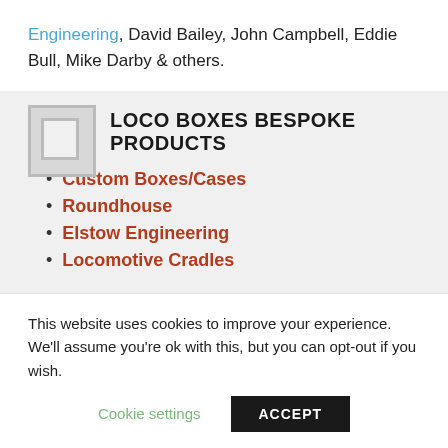Engineering, David Bailey, John Campbell, Eddie Bull, Mike Darby & others.
LOCO BOXES BESPOKE PRODUCTS
Custom Boxes/Cases
Roundhouse
Elstow Engineering
Locomotive Cradles
This website uses cookies to improve your experience. We'll assume you're ok with this, but you can opt-out if you wish.
Cookie settings  ACCEPT